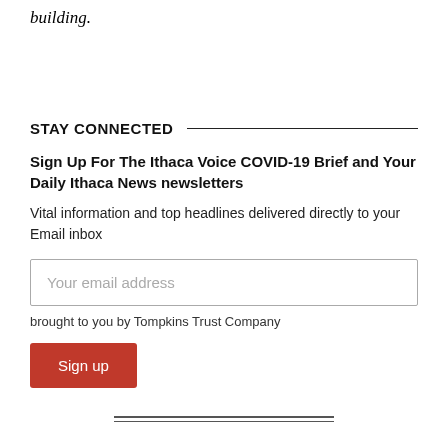building.
STAY CONNECTED
Sign Up For The Ithaca Voice COVID-19 Brief and Your Daily Ithaca News newsletters
Vital information and top headlines delivered directly to your Email inbox
Your email address
brought to you by Tompkins Trust Company
Sign up